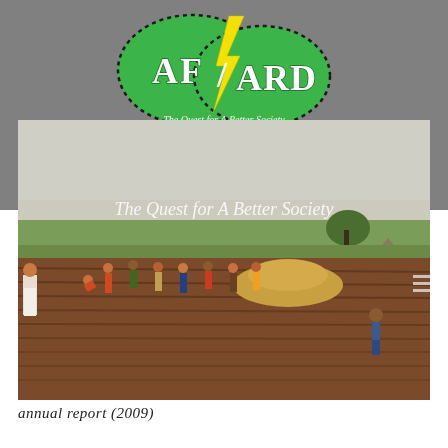[Figure (logo): AFARD logo: two overlapping green ellipses with dotted borders, yellow lightning bolt in center, text 'AF/ARD' in white serif letters, subtitle 'The Quest for A Better Society' in white italic text]
[Figure (photo): Photograph of farmers working in a field with rows of tilled red-brown soil. Multiple people are visible tilling and preparing the land. A child stands in the foreground right. Green vegetation and a tree visible in background under a hazy sky.]
annual report (2009)